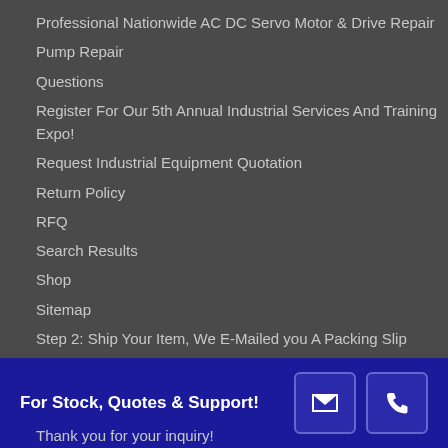Professional Nationwide AC DC Servo Motor & Drive Repair
Pump Repair
Questions
Register For Our 5th Annual Industrial Services And Training Expo!
Request Industrial Equipment Quotation
Return Policy
RFQ
Search Results
Shop
Sitemap
Step 2: Ship Your Item, We E-Mailed you A Packing Slip
Submit A Support Ticket
For Stock, Quotes & Support!
Thank you for your inquiry!